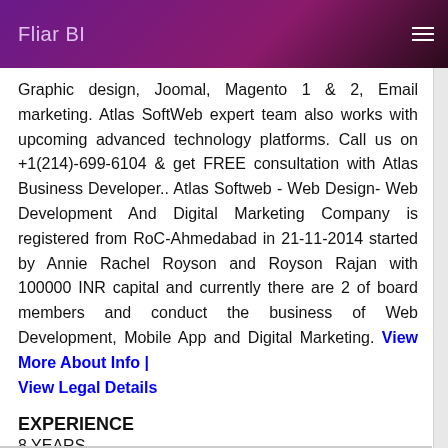Fliar BI
Graphic design, Joomal, Magento 1 & 2, Email marketing. Atlas SoftWeb expert team also works with upcoming advanced technology platforms. Call us on +1(214)-699-6104 & get FREE consultation with Atlas Business Developer.. Atlas Softweb - Web Design- Web Development And Digital Marketing Company is registered from RoC-Ahmedabad in 21-11-2014 started by Annie Rachel Royson and Royson Rajan with 100000 INR capital and currently there are 2 of board members and conduct the business of Web Development, Mobile App and Digital Marketing. View More About Info | View Legal Details
EXPERIENCE
8 YEARS